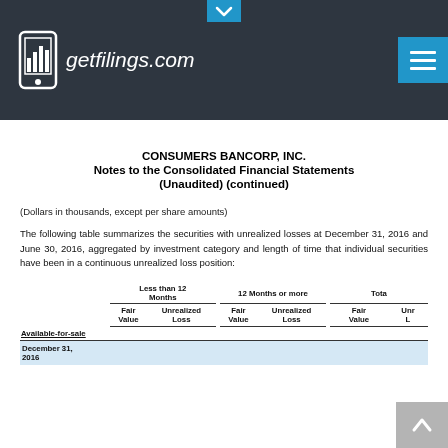getfilings.com
CONSUMERS BANCORP, INC.
Notes to the Consolidated Financial Statements
(Unaudited) (continued)
(Dollars in thousands, except per share amounts)
The following table summarizes the securities with unrealized losses at December 31, 2016 and June 30, 2016, aggregated by investment category and length of time that individual securities have been in a continuous unrealized loss position:
|  | Less than 12 Months Fair Value | Less than 12 Months Unrealized Loss | 12 Months or more Fair Value | 12 Months or more Unrealized Loss | Total Fair Value | Total Unrealized Loss |
| --- | --- | --- | --- | --- | --- | --- |
| Available-for-sale |  |  |  |  |  |  |
| December 31, 2016 |  |  |  |  |  |  |